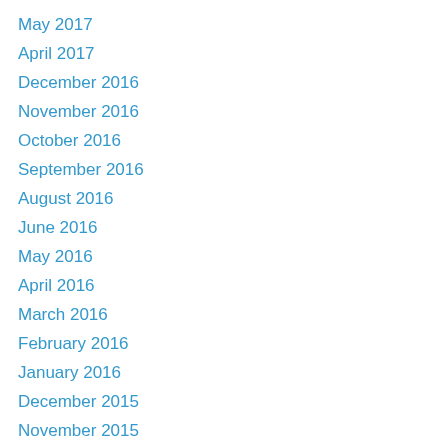May 2017
April 2017
December 2016
November 2016
October 2016
September 2016
August 2016
June 2016
May 2016
April 2016
March 2016
February 2016
January 2016
December 2015
November 2015
October 2015
September 2015
August 2015
July 2015
June 2015